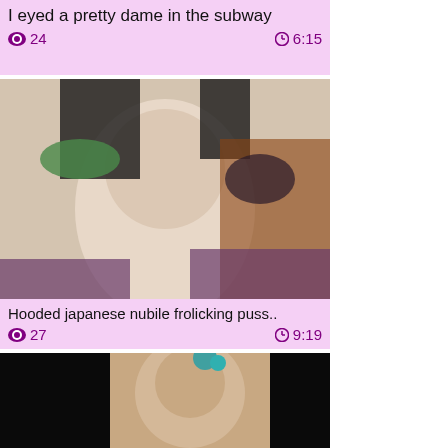[Figure (photo): Partial video thumbnail at top, cut off]
I eyed a pretty dame in the subway
👁 24   🕐 6:15
[Figure (photo): Video thumbnail showing a person]
Hooded japanese nubile frolicking puss..
👁 27   🕐 9:19
[Figure (photo): Video thumbnail at bottom, partially visible]